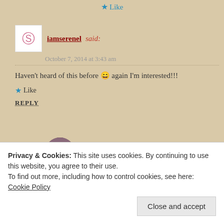★ Like
iamserenel said: October 7, 2014 at 3:43 am
Haven't heard of this before 😄 again I'm interested!!!
★ Like
REPLY
annie'sbeauty... said: October 7, 2014 at 8:45 am
Haha! It doesn't have much hype around it
Privacy & Cookies: This site uses cookies. By continuing to use this website, you agree to their use. To find out more, including how to control cookies, see here: Cookie Policy
Close and accept